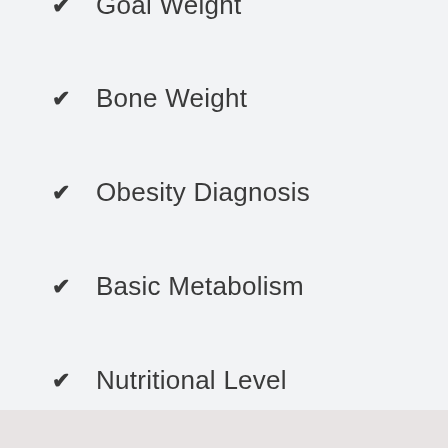Goal Weight
Bone Weight
Obesity Diagnosis
Basic Metabolism
Nutritional Level
Health Level